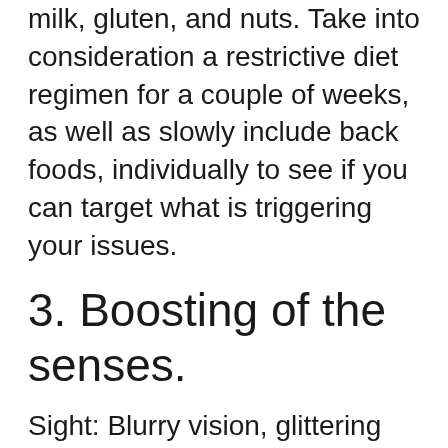milk, gluten, and nuts. Take into consideration a restrictive diet regimen for a couple of weeks, as well as slowly include back foods, individually to see if you can target what is triggering your issues.
3. Boosting of the senses.
Sight: Blurry vision, glittering items, seeing glittery bits, auras around individuals, plants, pets, and also items. Some record seeing previously opaque things as clear. Hearing: hearing white noise in the head, beeps, tones, songs or electronic patterns.Some hear water hurrying, humming, whooshing, barking or calling. Some listen to strange voices in their desires, as if somebody is floating near them